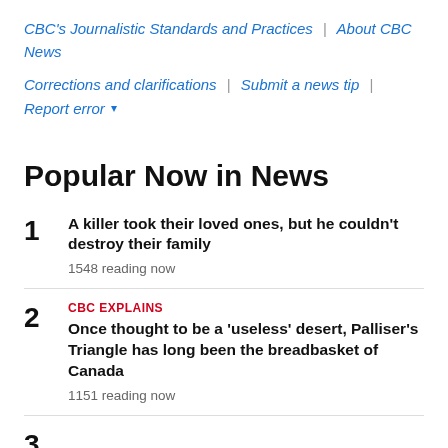CBC's Journalistic Standards and Practices | About CBC News
Corrections and clarifications | Submit a news tip | Report error ▾
Popular Now in News
1 A killer took their loved ones, but he couldn't destroy their family — 1548 reading now
2 CBC EXPLAINS Once thought to be a 'useless' desert, Palliser's Triangle has long been the breadbasket of Canada — 1151 reading now
3 (partial)